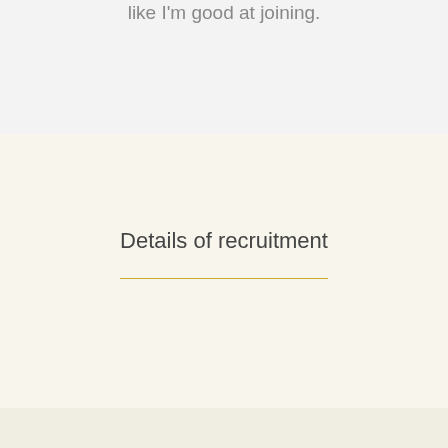like I'm good at joining.
Details of recruitment